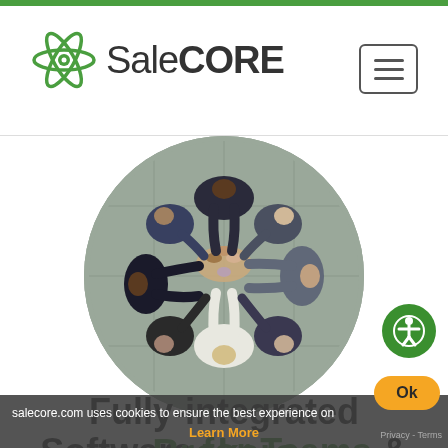[Figure (logo): SaleCORE logo with atomic/ring icon in green and dark text]
[Figure (photo): Overhead aerial view of a group of business people standing in a circle with hands joined in the center, viewed from above, circular crop]
Fully-integrated Software for Teams & Brokers
salecore.com uses cookies to ensure the best experience on
Learn More
Privacy - Terms